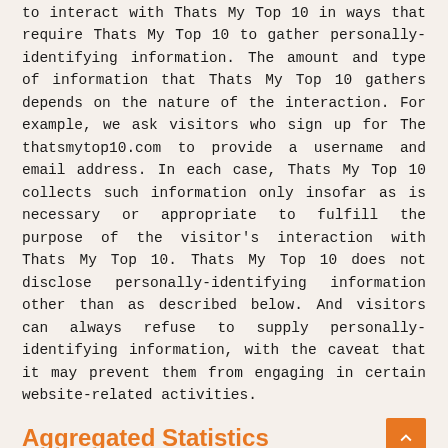to interact with Thats My Top 10 in ways that require Thats My Top 10 to gather personally-identifying information. The amount and type of information that Thats My Top 10 gathers depends on the nature of the interaction. For example, we ask visitors who sign up for The thatsmytop10.com to provide a username and email address. In each case, Thats My Top 10 collects such information only insofar as is necessary or appropriate to fulfill the purpose of the visitor's interaction with Thats My Top 10. Thats My Top 10 does not disclose personally-identifying information other than as described below. And visitors can always refuse to supply personally-identifying information, with the caveat that it may prevent them from engaging in certain website-related activities.
Aggregated Statistics
Thats My Top 10 may collect statistics about the behavior of visitors to its websites. For instance